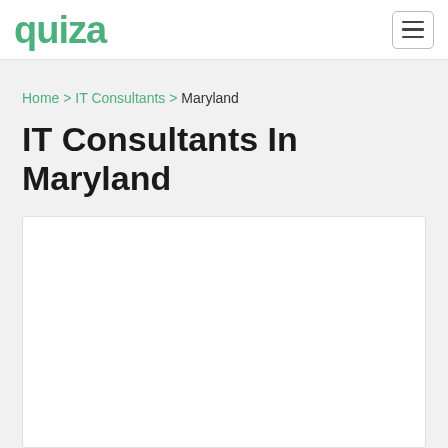quiza [logo] [hamburger menu]
Home > IT Consultants > Maryland
IT Consultants In Maryland
[Figure (other): White rectangular content/advertisement area]